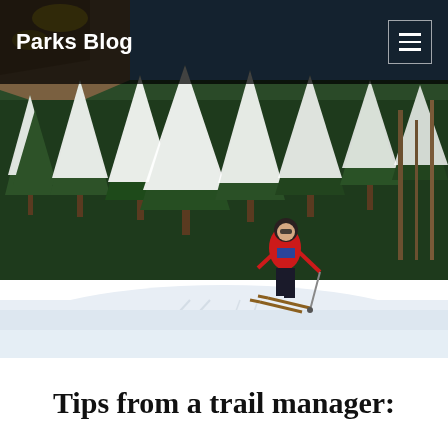Parks Blog
[Figure (photo): Person in red jacket cross-country skiing on a groomed trail surrounded by snow-covered evergreen trees and bright blue sky]
Tips from a trail manager: